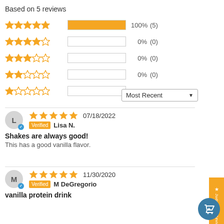Based on 5 reviews
[Figure (bar-chart): Star rating distribution]
Most Recent
07/18/2022 Verified Lisa N. Shakes are always good! This has a good vanilla flavor.
11/30/2020 Verified M DeGregorio vanilla protein drink